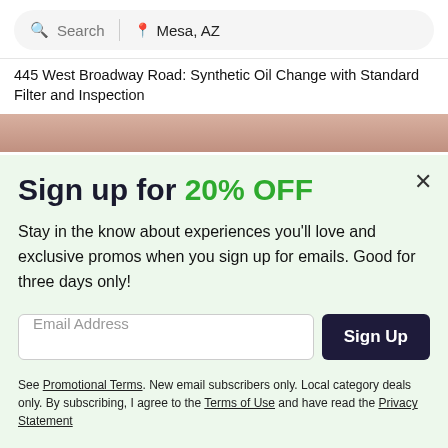[Figure (screenshot): Search bar with search icon and 'Search' placeholder text on left, divider, location pin icon and 'Mesa, AZ' text on right, in a rounded pill-shaped input on a light gray background]
445 West Broadway Road: Synthetic Oil Change with Standard Filter and Inspection
[Figure (photo): Partial photo strip showing a person, cropped, with warm tones]
Sign up for 20% OFF
Stay in the know about experiences you'll love and exclusive promos when you sign up for emails. Good for three days only!
[Figure (screenshot): Email address input field with 'Email Address' placeholder text and a dark Sign Up button]
See Promotional Terms. New email subscribers only. Local category deals only. By subscribing, I agree to the Terms of Use and have read the Privacy Statement